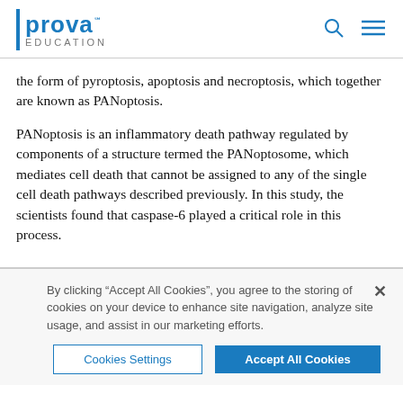Prova Education
the form of pyroptosis, apoptosis and necroptosis, which together are known as PANoptosis.
PANoptosis is an inflammatory death pathway regulated by components of a structure termed the PANoptosome, which mediates cell death that cannot be assigned to any of the single cell death pathways described previously. In this study, the scientists found that caspase-6 played a critical role in this process.
By clicking “Accept All Cookies”, you agree to the storing of cookies on your device to enhance site navigation, analyze site usage, and assist in our marketing efforts.